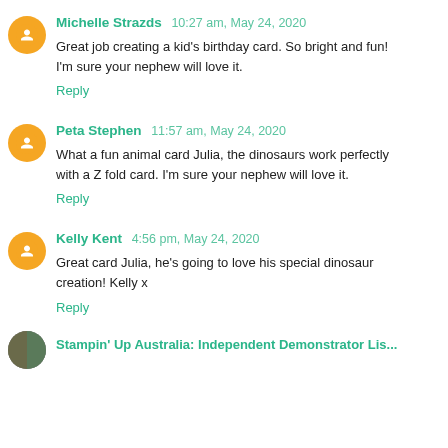Michelle Strazds  10:27 am, May 24, 2020
Great job creating a kid's birthday card. So bright and fun! I'm sure your nephew will love it.
Reply
Peta Stephen  11:57 am, May 24, 2020
What a fun animal card Julia, the dinosaurs work perfectly with a Z fold card. I'm sure your nephew will love it.
Reply
Kelly Kent  4:56 pm, May 24, 2020
Great card Julia, he's going to love his special dinosaur creation! Kelly x
Reply
Stampin' Up Australia: Independent Demonstrator Lis...